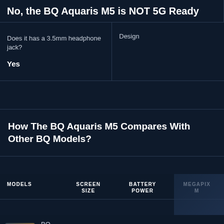No, the BQ Aquaris M5 is NOT 5G Ready
|  |  |
| --- | --- |
| Does it has a 3.5mm headphone jack?
Yes | Design |
How The BQ Aquaris M5 Compares With Other BQ Models?
| MODELS | SCREEN SIZE | BATTERY POWER | MEGAPIX M |
| --- | --- | --- | --- |
| BQ Aquaris X2 |  |  |  |